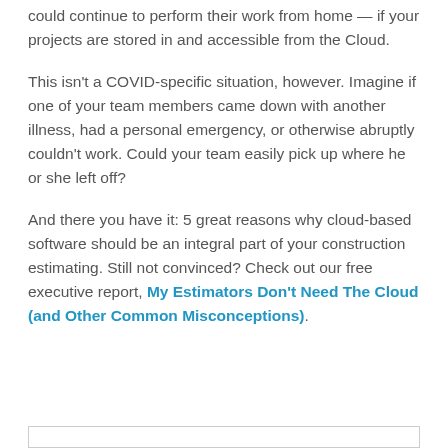could continue to perform their work from home — if your projects are stored in and accessible from the Cloud.
This isn't a COVID-specific situation, however. Imagine if one of your team members came down with another illness, had a personal emergency, or otherwise abruptly couldn't work. Could your team easily pick up where he or she left off?
And there you have it: 5 great reasons why cloud-based software should be an integral part of your construction estimating. Still not convinced? Check out our free executive report, My Estimators Don't Need The Cloud (and Other Common Misconceptions).